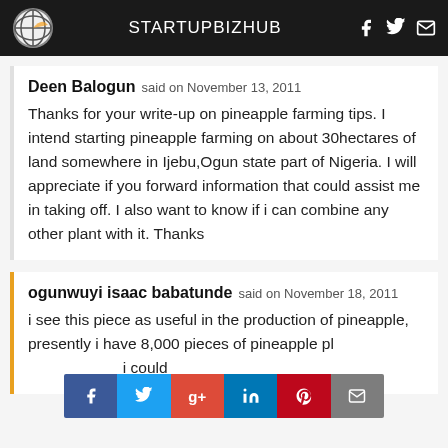STARTUPBIZHUB
Deen Balogun said on November 13, 2011
Thanks for your write-up on pineapple farming tips. I intend starting pineapple farming on about 30hectares of land somewhere in Ijebu,Ogun state part of Nigeria. I will appreciate if you forward information that could assist me in taking off. I also want to know if i can combine any other plant with it. Thanks
ogunwuyi isaac babatunde said on November 18, 2011
i see this piece as useful in the production of pineapple, presently i have 8,000 pieces of pineapple pl... te. i could